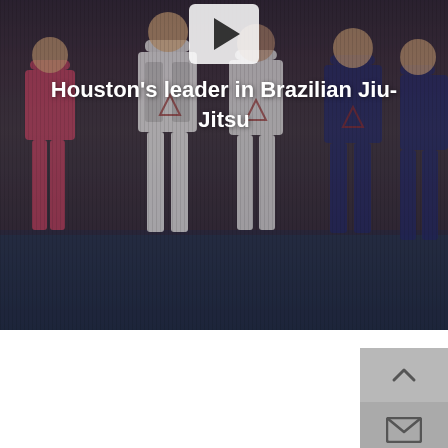[Figure (photo): A group of Brazilian Jiu-Jitsu practitioners in a dojo, wearing gis with logos, standing on a blue mat. The image has a dark overlay with scan lines. A video play button appears at the top center.]
Houston's leader in Brazilian Jiu-Jitsu
[Figure (other): UI navigation buttons on right side: an upward chevron button (scroll to top) and an envelope/mail button, both light gray.]